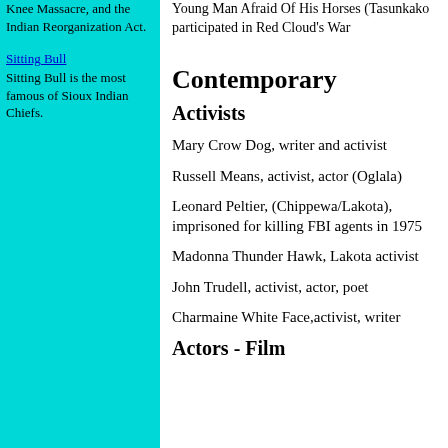Knee Massacre, and the Indian Reorganization Act.
Sitting Bull
Sitting Bull is the most famous of Sioux Indian Chiefs.
Young Man Afraid Of His Horses (Tasunkako participated in Red Cloud's War
Contemporary
Activists
Mary Crow Dog, writer and activist
Russell Means, activist, actor (Oglala)
Leonard Peltier, (Chippewa/Lakota), imprisoned for killing FBI agents in 1975
Madonna Thunder Hawk, Lakota activist
John Trudell, activist, actor, poet
Charmaine White Face,activist, writer
Actors - Film